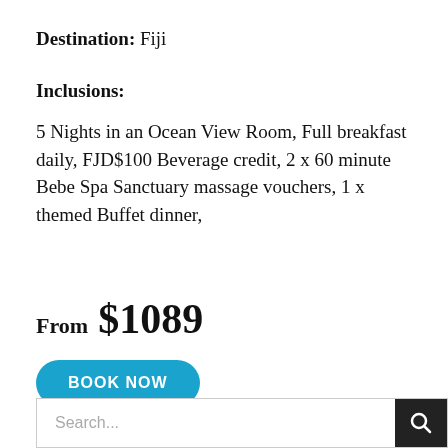Destination: Fiji
Inclusions:
5 Nights in an Ocean View Room, Full breakfast daily, FJD$100 Beverage credit, 2 x 60 minute Bebe Spa Sanctuary massage vouchers, 1 x themed Buffet dinner,
From  $1089
BOOK NOW
Search...